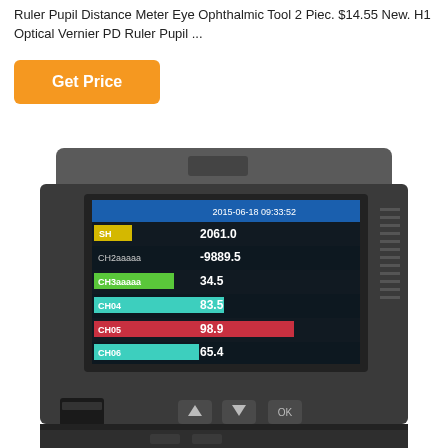Ruler Pupil Distance Meter Eye Ophthalmic Tool 2 Piec. $14.55 New. H1 Optical Vernier PD Ruler Pupil ...
[Figure (other): Orange 'Get Price' button]
[Figure (photo): Photo of a data recorder device with a color LCD screen showing channel readings: SH=2061.0, CH2aaaaa=-9889.5, CH3aaaaa=34.5, CH04=83.5, CH05=98.9, CH06=65.4, with timestamp 2015-06-18 09:33:52. Device has navigation buttons (up, down, OK) on the front panel.]